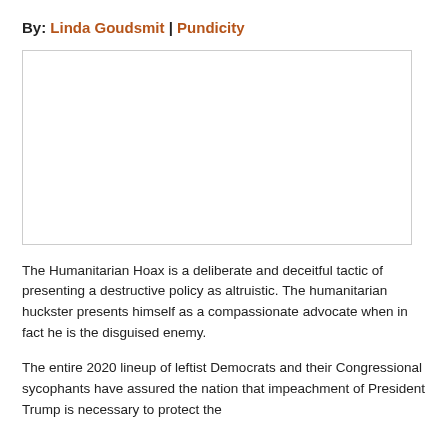By: Linda Goudsmit | Pundicity
[Figure (other): Empty white image box with light gray border]
The Humanitarian Hoax is a deliberate and deceitful tactic of presenting a destructive policy as altruistic. The humanitarian huckster presents himself as a compassionate advocate when in fact he is the disguised enemy.
The entire 2020 lineup of leftist Democrats and their Congressional sycophants have assured the nation that impeachment of President Trump is necessary to protect the